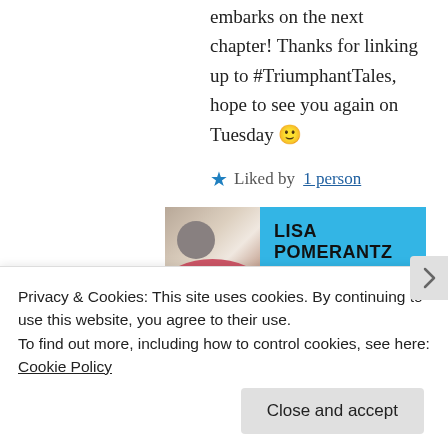embarks on the next chapter! Thanks for linking up to #TriumphantTales, hope to see you again on Tuesday 🙂
★ Liked by 1 person
LISA POMERANTZ
APRIL 28, 2017 AT 7:55 PM | REPLY
I'm glad this was timely for you!
Wonderful how things like that just work
Privacy & Cookies: This site uses cookies. By continuing to use this website, you agree to their use.
To find out more, including how to control cookies, see here: Cookie Policy